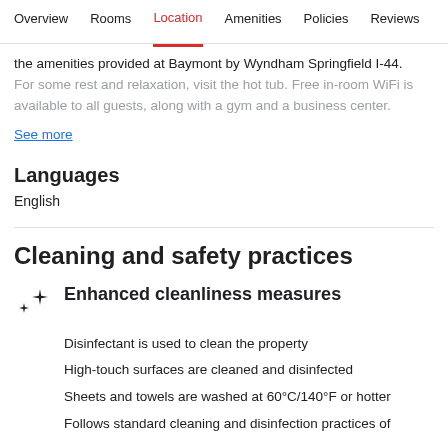Overview  Rooms  Location  Amenities  Policies  Reviews
the amenities provided at Baymont by Wyndham Springfield I-44. For some rest and relaxation, visit the hot tub. Free in-room WiFi is available to all guests, along with a gym and a business center.
See more
Languages
English
Cleaning and safety practices
Enhanced cleanliness measures
Disinfectant is used to clean the property
High-touch surfaces are cleaned and disinfected
Sheets and towels are washed at 60°C/140°F or hotter
Follows standard cleaning and disinfection practices of